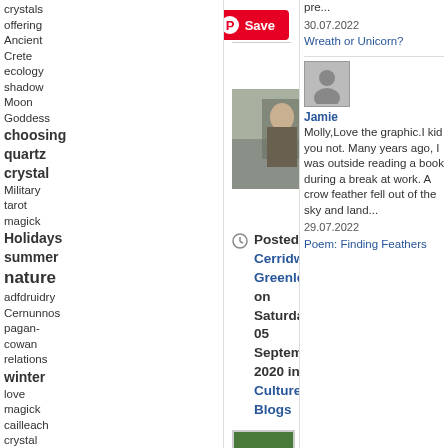crystals offering Ancient Crete ecology shadow Moon Goddess choosing quartz crystal Military tarot magick Holidays summer nature adfdruidry Cernunnos pagan-cowan relations winter love magick cailleach crystal anatomy asatru cultural appropriation witchcraft change everyday magic May Day
[Figure (other): Pinterest Save button (red)]
[Figure (photo): Small thumbnail image of a person in a cave or rocky environment]
Herbs of Abundance: Grow Prosperity Herbs
Posted by Cerridwen Greenleaf on Saturday, 05 September 2020 in Culture Blogs
[Figure (photo): Photo of green herbs and plants in wooden/stone planters against a white wooden wall background]
pre...
30.07.2022
Wreath or Unicorn?
[Figure (photo): Avatar/silhouette icon of a person]
Jamie
Molly,Love the graphic.I kid you not. Many years ago, I was outside reading a book during a break at work. A crow feather fell out of the sky and land...
29.07.2022
Poem: Finding Feathers